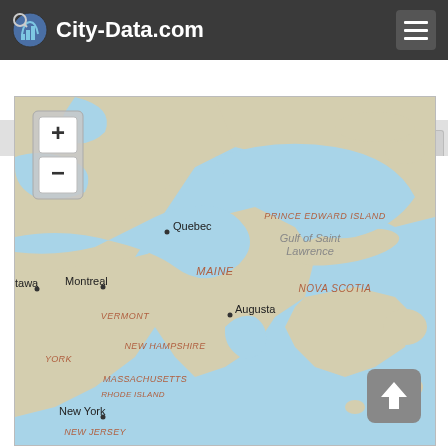City-Data.com
OSM Map | Google Map | MSN Map
[Figure (map): Map showing northeastern North America including Quebec, Montreal, Augusta, New York, Maine, Vermont, New Hampshire, Massachusetts, Rhode Island, New Jersey, Nova Scotia, Prince Edward Island, and the Gulf of Saint Lawrence. Water bodies shown in light blue, land in beige/tan.]